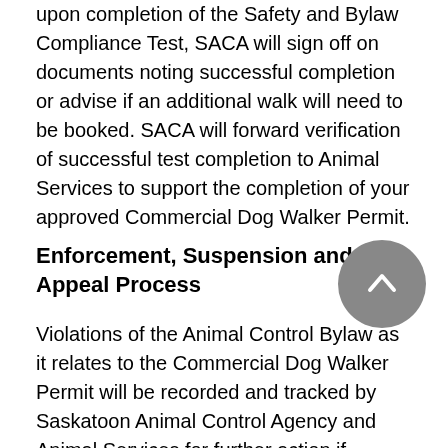upon completion of the Safety and Bylaw Compliance Test, SACA will sign off on documents noting successful completion or advise if an additional walk will need to be booked. SACA will forward verification of successful test completion to Animal Services to support the completion of your approved Commercial Dog Walker Permit.
Enforcement, Suspension and Appeal Process
Violations of the Animal Control Bylaw as it relates to the Commercial Dog Walker Permit will be recorded and tracked by Saskatoon Animal Control Agency and Animal Services for further action if necessary, including potential permit suspension.